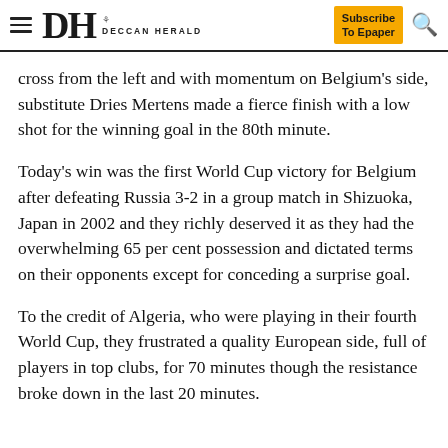DH DECCAN HERALD — Subscribe To Epaper
cross from the left and with momentum on Belgium's side, substitute Dries Mertens made a fierce finish with a low shot for the winning goal in the 80th minute.
Today's win was the first World Cup victory for Belgium after defeating Russia 3-2 in a group match in Shizuoka, Japan in 2002 and they richly deserved it as they had the overwhelming 65 per cent possession and dictated terms on their opponents except for conceding a surprise goal.
To the credit of Algeria, who were playing in their fourth World Cup, they frustrated a quality European side, full of players in top clubs, for 70 minutes though the resistance broke down in the last 20 minutes.